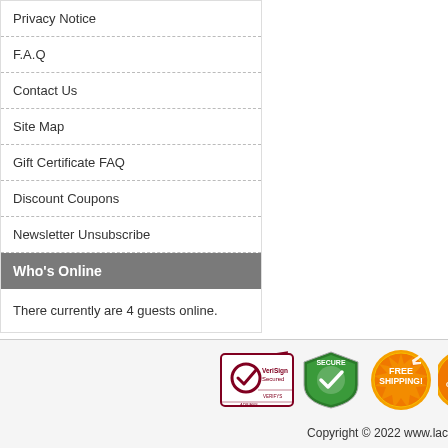Privacy Notice
F.A.Q
Contact Us
Site Map
Gift Certificate FAQ
Discount Coupons
Newsletter Unsubscribe
Who's Online
There currently are 4 guests online.
[Figure (logo): VeriSign Secured badge, green Secure shield badge, orange Free Shipping badge, and partially visible satisfaction guarantee badge]
Copyright © 2022 www.lac...